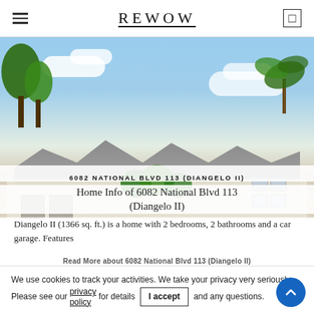REWOW
[Figure (photo): Exterior photo of a residential building with beige/tan facade, gray roofs, and palm trees, under a blue sky with clouds.]
6082 NATIONAL BLVD 113 (DIANGELO II)
Home Info of 6082 National Blvd 113 (Diangelo II)
Diangelo II (1366 sq. ft.) is a home with 2 bedrooms, 2 bathrooms and a car garage. Features
Read More about 6082 National Blvd 113 (Diangelo II)
We use cookies to track your activities. We take your privacy very seriously. Please see our privacy policy for details and any questions. I accept